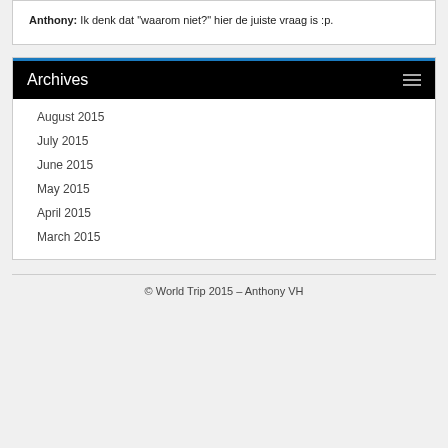Anthony: Ik denk dat "waarom niet?" hier de juiste vraag is :p.
Archives
August 2015
July 2015
June 2015
May 2015
April 2015
March 2015
© World Trip 2015 – Anthony VH